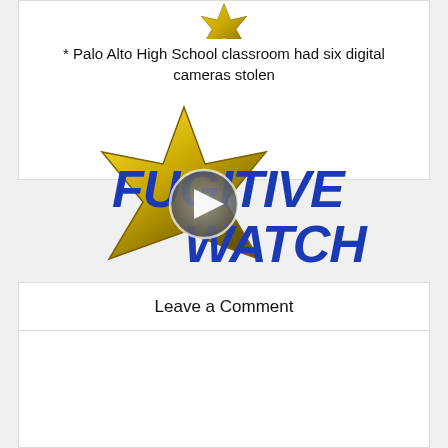[Figure (logo): Gold sheriff star badge top portion (cropped at top)]
* Palo Alto High School classroom had six digital cameras stolen
[Figure (logo): Fugitive Watch logo: gold star badge with blue bold text reading FUGITIVE WATCH, and a video play button overlay in the center]
* East Bay Regional Park Police Officer Shot at Near Upper San Leandro Reservoir
Leave a Comment